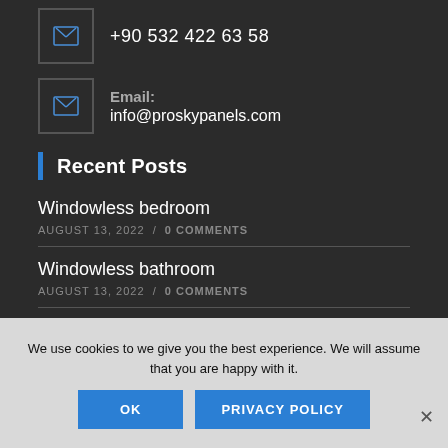+90 532 422 63 58
Email: info@proskypanels.com
Recent Posts
Windowless bedroom
AUGUST 13, 2022 / 0 COMMENTS
Windowless bathroom
AUGUST 13, 2022 / 0 COMMENTS
Windowless room
AUGUST 13, 2022 / 0 COMMENTS
We use cookies to we give you the best experience. We will assume that you are happy with it.